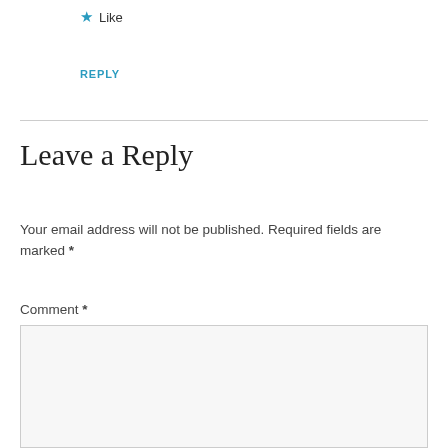Like
REPLY
Leave a Reply
Your email address will not be published. Required fields are marked *
Comment *